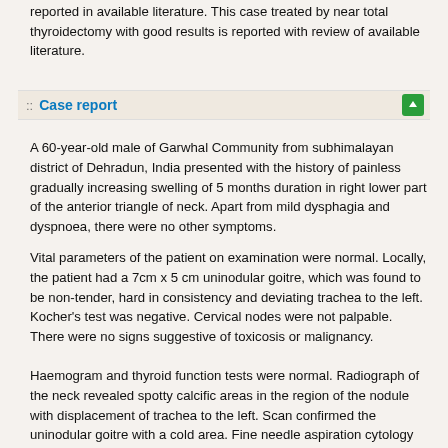reported in available literature. This case treated by near total thyroidectomy with good results is reported with review of available literature.
:: Case report
A 60-year-old male of Garwhal Community from subhimalayan district of Dehradun, India presented with the history of painless gradually increasing swelling of 5 months duration in right lower part of the anterior triangle of neck. Apart from mild dysphagia and dyspnoea, there were no other symptoms.
Vital parameters of the patient on examination were normal. Locally, the patient had a 7cm x 5 cm uninodular goitre, which was found to be non-tender, hard in consistency and deviating trachea to the left. Kocher's test was negative. Cervical nodes were not palpable. There were no signs suggestive of toxicosis or malignancy.
Haemogram and thyroid function tests were normal. Radiograph of the neck revealed spotty calcific areas in the region of the nodule with displacement of trachea to the left. Scan confirmed the uninodular goitre with a cold area. Fine needle aspiration cytology was suggestive of spindle cell tumour or neurogenic tumour